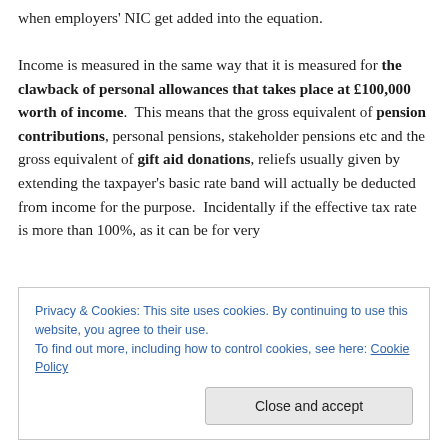when employers' NIC get added into the equation.

Income is measured in the same way that it is measured for the clawback of personal allowances that takes place at £100,000 worth of income. This means that the gross equivalent of pension contributions, personal pensions, stakeholder pensions etc and the gross equivalent of gift aid donations, reliefs usually given by extending the taxpayer's basic rate band will actually be deducted from income for the purpose. Incidentally if the effective tax rate is more than 100%, as it can be for very
Privacy & Cookies: This site uses cookies. By continuing to use this website, you agree to their use.
To find out more, including how to control cookies, see here: Cookie Policy

Close and accept